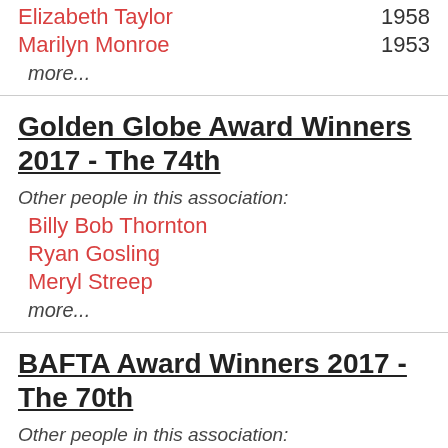Elizabeth Taylor  1958
Marilyn Monroe  1953
more...
Golden Globe Award Winners 2017 - The 74th
Other people in this association:
Billy Bob Thornton
Ryan Gosling
Meryl Streep
more...
BAFTA Award Winners 2017 - The 70th
Other people in this association: